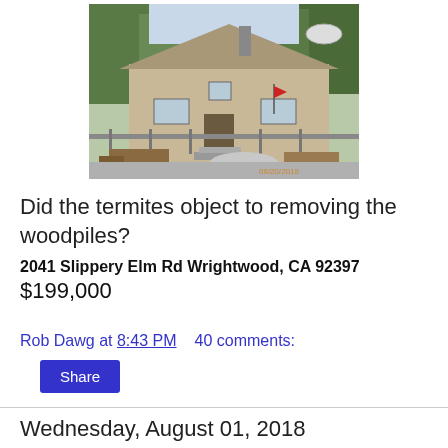[Figure (photo): Exterior photo of a small house in Wrightwood, CA with woodpiles, chain-link fence, and trees in background. Timestamp 08/20/2018 visible in lower right corner.]
Did the termites object to removing the woodpiles?
2041 Slippery Elm Rd Wrightwood, CA 92397
$199,000
Rob Dawg at 8:43 PM    40 comments:
Share
Wednesday, August 01, 2018